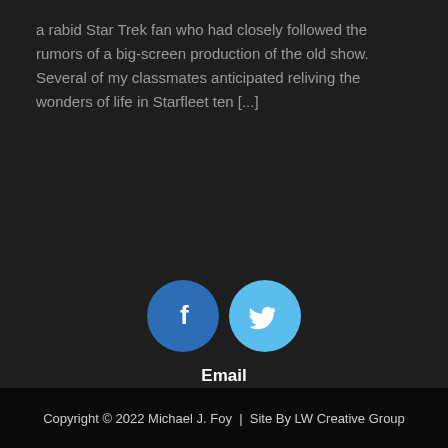a rabid Star Trek fan who had closely followed the rumors of a big-screen production of the old show. Several of my classmates anticipated reliving the wonders of life in Starfleet ten [...]
[Figure (illustration): Two circular social media share buttons side by side: a dark blue Facebook button with a white lowercase 'f' letter, and a light blue Twitter button with a white Twitter bird icon.]
Email
Copyright © 2022 Michael J. Foy  |  Site By LW Creative Group